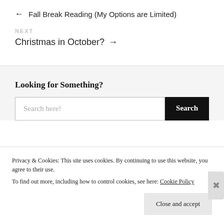← Fall Break Reading (My Options are Limited)
NEXT
Christmas in October? →
Looking for Something?
Search here!
Privacy & Cookies: This site uses cookies. By continuing to use this website, you agree to their use. To find out more, including how to control cookies, see here: Cookie Policy
Close and accept